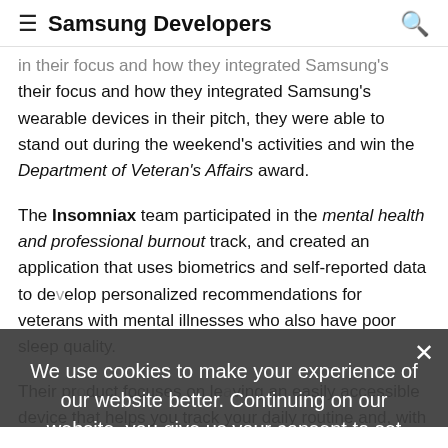Samsung Developers
their focus and how they integrated Samsung's wearable devices in their pitch, they were able to stand out during the weekend's activities and win the Department of Veteran's Affairs award.
The Insomniax team participated in the mental health and professional burnout track, and created an application that uses biometrics and self-reported data to develop personalized recommendations for veterans with mental illnesses who also have poor sleep quality.
Their pr... leaving an easily accessible device that helps you track your daily routine and, with the help of an Artificial Intelligence system, gives you relevant advice to
We use cookies to make your experience of our website better. Continuing on our website, you give us your consent to set these cookies. Find out more